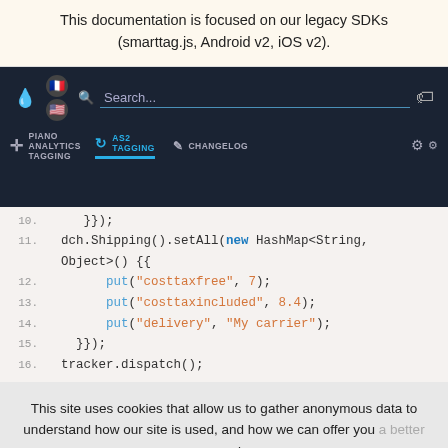This documentation is focused on our legacy SDKs (smarttag.js, Android v2, iOS v2).
[Figure (screenshot): Navigation bar with Piano Analytics Tagging menu, AS2 Tagging active tab, Changelog tab, search bar, flags, and icons on dark background]
[Figure (screenshot): Code snippet showing Java code lines 10-16 with dch.Shipping().setAll() call containing put methods for costtaxfree(7), costtaxincluded(8.4), delivery('My carrier'), and tracker.dispatch()]
This site uses cookies that allow us to gather anonymous data to understand how our site is used, and how we can offer you a better user experience.
[Figure (screenshot): Cookie consent banner with Refuse and Accept buttons]